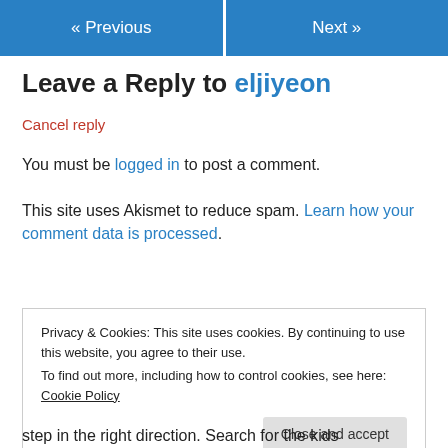« Previous   Next »
Leave a Reply to eljiyeon
Cancel reply
You must be logged in to post a comment.
This site uses Akismet to reduce spam. Learn how your comment data is processed.
Privacy & Cookies: This site uses cookies. By continuing to use this website, you agree to their use.
To find out more, including how to control cookies, see here: Cookie Policy
Close and accept
step in the right direction. Search for the kids